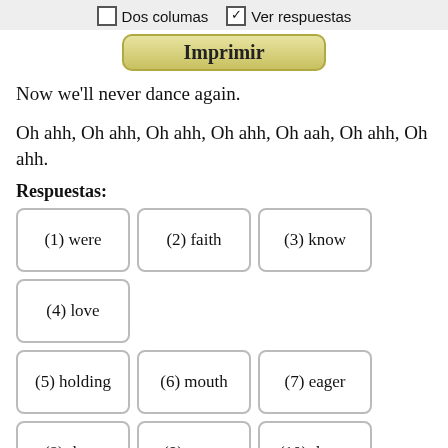Dos columas  Ver respuestas
Imprimir
Now we'll never dance again.
Oh ahh, Oh ahh, Oh ahh, Oh ahh, Oh aah, Oh ahh, Oh ahh.
Respuestas:
(1) were
(2) faith
(3) know
(4) love
(5) holding
(6) mouth
(7) eager
(8) them
(9) never
(10) dance
Todas las letras son propiedad de sus autores y propietarios de sus derechos, y se proporcionan solo con fines educativos.
LyricsGaps.com